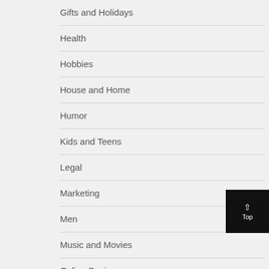Gifts and Holidays
Health
Hobbies
House and Home
Humor
Kids and Teens
Legal
Marketing
Men
Music and Movies
Online Business